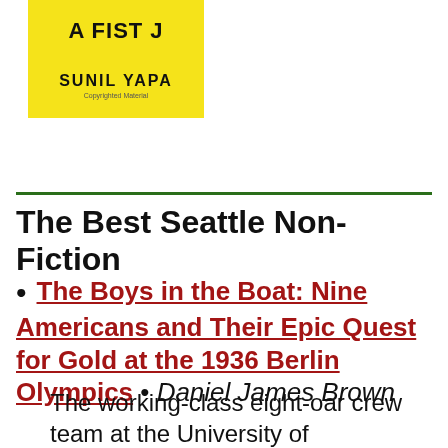[Figure (illustration): Book cover with yellow background showing partial text 'A FIST J' at top and 'SUNIL YAPA' in large bold letters below, with 'Copyrighted Material' in small text]
The Best Seattle Non-Fiction
The Boys in the Boat: Nine Americans and Their Epic Quest for Gold at the 1936 Berlin Olympics • Daniel James Brown
The working-class eight-oar crew team at the University of Washington attempt to beat the odds and row for the gold in Nazi Germany...